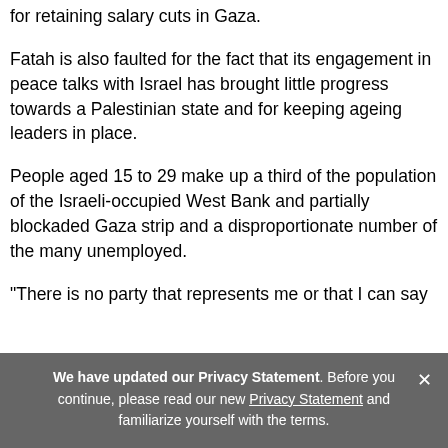for retaining salary cuts in Gaza.
Fatah is also faulted for the fact that its engagement in peace talks with Israel has brought little progress towards a Palestinian state and for keeping ageing leaders in place.
People aged 15 to 29 make up a third of the population of the Israeli-occupied West Bank and partially blockaded Gaza strip and a disproportionate number of the many unemployed.
"There is no party that represents me or that I can say
We have updated our Privacy Statement. Before you continue, please read our new Privacy Statement and familiarize yourself with the terms.